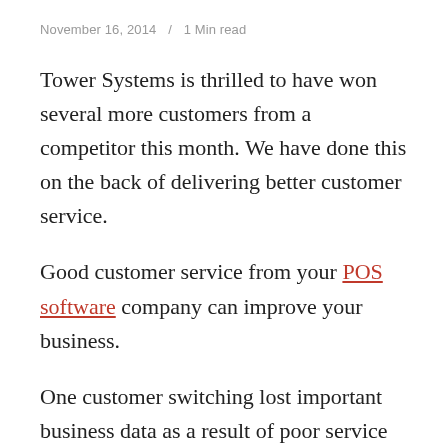November 16, 2014  /  1 Min read
Tower Systems is thrilled to have won several more customers from a competitor this month. We have done this on the back of delivering better customer service.
Good customer service from your POS software company can improve your business.
One customer switching lost important business data as a result of poor service from their old POS solution provider.
Another customer switching lost hours of time as a result of delays in help desk assistance from their